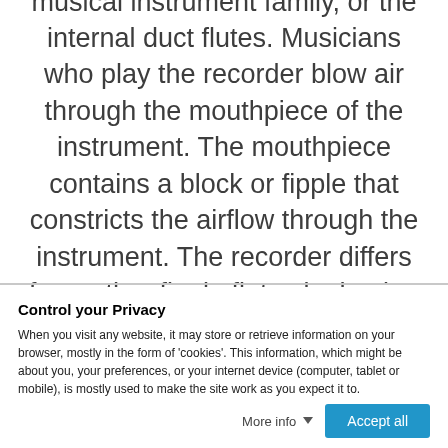The recorder belongs to the fipple flutes, a woodwind musical instrument family, or the internal duct flutes. Musicians who play the recorder blow air through the mouthpiece of the instrument. The mouthpiece contains a block or fipple that constricts the airflow through the instrument. The recorder differs from other fipple flutes by having seven distinguished holes for each human finger.
Control your Privacy
When you visit any website, it may store or retrieve information on your browser, mostly in the form of 'cookies'. This information, which might be about you, your preferences, or your internet device (computer, tablet or mobile), is mostly used to make the site work as you expect it to.